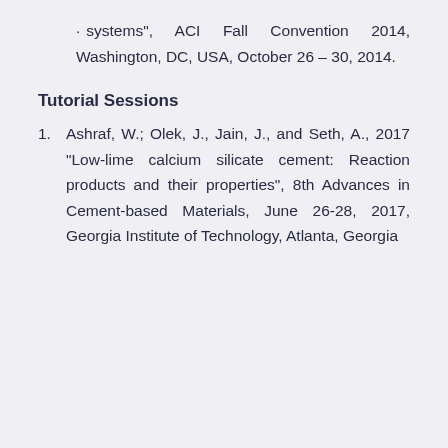systems", ACI Fall Convention 2014, Washington, DC, USA, October 26 – 30, 2014.
Tutorial Sessions
Ashraf, W.; Olek, J., Jain, J., and Seth, A., 2017 "Low-lime calcium silicate cement: Reaction products and their properties", 8th Advances in Cement-based Materials, June 26-28, 2017, Georgia Institute of Technology, Atlanta, Georgia